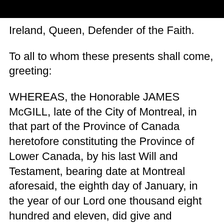Ireland, Queen, Defender of the Faith.
To all to whom these presents shall come, greeting:
WHEREAS, the Honorable JAMES McGILL, late of the City of Montreal, in that part of the Province of Canada heretofore constituting the Province of Lower Canada, by his last Will and Testament, bearing date at Montreal aforesaid, the eighth day of January, in the year of our Lord one thousand eight hundred and eleven, did give and